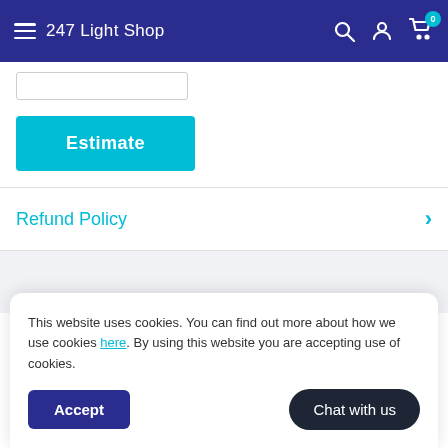247 Light Shop
Estimate
Refund Policy
This website uses cookies. You can find out more about how we use cookies here. By using this website you are accepting use of cookies.
Accept
Chat with us